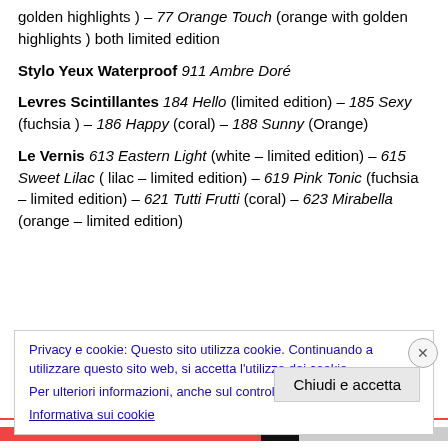golden highlights ) – 77 Orange Touch (orange with golden highlights ) both limited edition
Stylo Yeux Waterproof 911 Ambre Doré
Levres Scintillantes 184 Hello (limited edition) – 185 Sexy (fuchsia ) – 186 Happy (coral) – 188 Sunny (Orange)
Le Vernis 613 Eastern Light (white – limited edition) – 615 Sweet Lilac ( lilac – limited edition) – 619 Pink Tonic (fuchsia – limited edition) – 621 Tutti Frutti (coral) – 623 Mirabella (orange – limited edition)
Privacy e cookie: Questo sito utilizza cookie. Continuando a utilizzare questo sito web, si accetta l'utilizzo dei cookie.
Per ulteriori informazioni, anche sul controllo dei cookie, leggi qui:
Informativa sui cookie
Chiudi e accetta